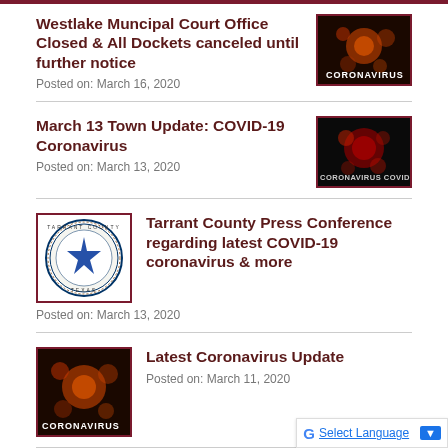Westlake Muncipal Court Office Closed & All Dockets canceled until further notice
Posted on: March 16, 2020
[Figure (photo): Coronavirus image with text 'CORONAVIRUS' on dark background]
March 13 Town Update: COVID-19 Coronavirus
Posted on: March 13, 2020
[Figure (photo): Dark image with COVID-19 coronavirus text overlay]
[Figure (logo): Tarrant County Texas official seal]
Tarrant County Press Conference regarding latest COVID-19 coronavirus & more
Posted on: March 13, 2020
[Figure (photo): Coronavirus image with text 'CORONAVIRUS' on dark background]
Latest Coronavirus Update
Posted on: March 11, 2020
[Figure (photo): Road/street photo for Capital Improvement Road Projects]
Capital Improvement Road Projects Set to Begin in West...
Select Language